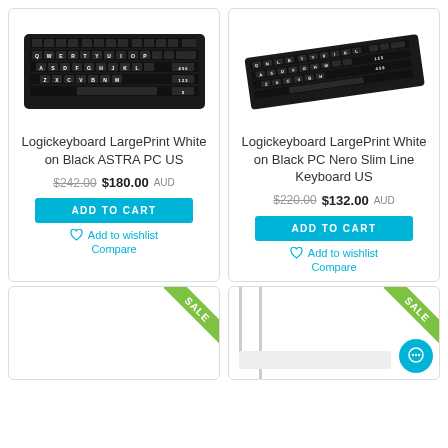[Figure (photo): Logickeyboard LargePrint White on Black ASTRA PC US keyboard photo]
[Figure (photo): Logickeyboard LargePrint White on Black PC Nero Slim Line Keyboard US photo]
Logickeyboard LargePrint White on Black ASTRA PC US
$242.00 $180.00 AUD
ADD TO CART
Add to wishlist
Compare
Logickeyboard LargePrint White on Black PC Nero Slim Line Keyboard US
$220.00 $132.00 AUD
ADD TO CART
Add to wishlist
Compare
[Figure (photo): Bottom left product card with SALE badge]
[Figure (photo): Bottom right product card with SALE badge and chat bubble]